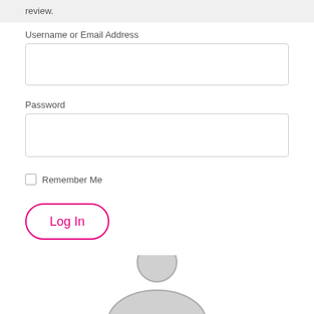review.
Username or Email Address
[Figure (screenshot): Empty text input field for username or email address]
Password
[Figure (screenshot): Empty password input field]
Remember Me
[Figure (screenshot): Log In button with magenta/pink rounded border and pink text]
[Figure (illustration): Partial gray avatar/profile icon circle at the bottom of the page]